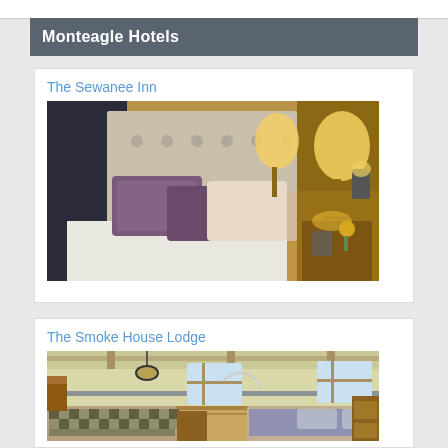Monteagle Hotels
The Sewanee Inn
[Figure (photo): Hotel room with a made bed featuring decorative pillows in purple and cream tones, tufted headboard, warm lamp lighting on bedside table with flowers and a small device]
The Smoke House Lodge
[Figure (photo): Rustic lodge interior with wood-beam ceiling, pendant light, windows letting in natural light, beds with checkered/plaid bedding, and wooden furniture]